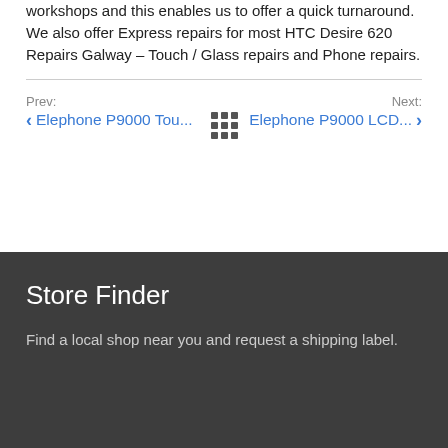620 repairs are carried out in one of our state of the art workshops and this enables us to offer a quick turnaround. We also offer Express repairs for most HTC Desire 620 Repairs Galway – Touch / Glass repairs and Phone repairs.
Prev: Elephone P9000 Tou...
Next: Elephone P9000 LCD...
Store Finder
Find a local shop near you and request a shipping label.